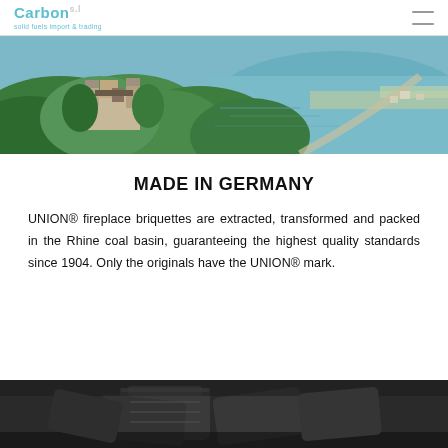Carbon solid fuels import & trading
[Figure (photo): Aerial photo of a castle on a forested hillside beside a river (Rhine), with roads and houses visible in the background]
MADE IN GERMANY
UNION® fireplace briquettes are extracted, transformed and packed in the Rhine coal basin, guaranteeing the highest quality standards since 1904. Only the originals have the UNION® mark.
[Figure (photo): Black and white close-up photo of coal briquettes]